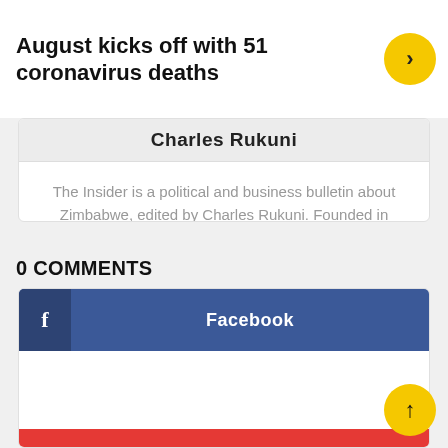August kicks off with 51 coronavirus deaths
Charles Rukuni
The Insider is a political and business bulletin about Zimbabwe, edited by Charles Rukuni. Founded in 1990, it was a printed 12-page subscription only newsletter until 2003 when Zimbabwe's hyper-inflation made it impossible to continue printing.
0 COMMENTS
Facebook